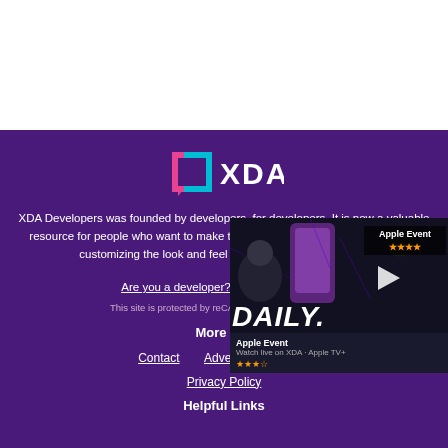[Figure (logo): XDA Developers logo - stylized brackets with XDA text in white and pink/cyan colors]
XDA Developers was founded by developers, for developers. It is now a valuable resource for people who want to make the most of their mobile devices, from customizing the look and feel to adding new functionality.
Are you a developer? | Terms of Service
This site is protected by reCAPTCHA and the Goog...
More in...
Contact
Advertise
About
Privacy Policy
Helpful Links
[Figure (screenshot): Video overlay thumbnail showing XDA Daily video with a presenter, Apple Event text, DAILY text, and play button]